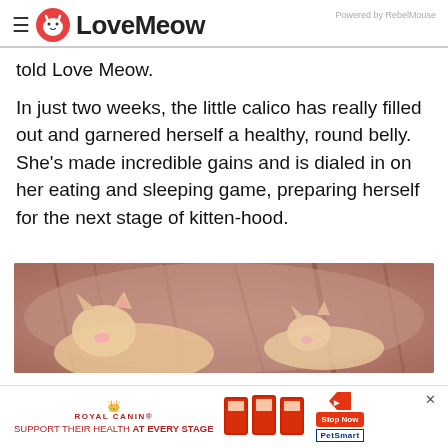LoveMeow — Powered by RebelMouse
told Love Meow.
In just two weeks, the little calico has really filled out and garnered herself a healthy, round belly. She's made incredible gains and is dialed in on her eating and sleeping game, preparing herself for the next stage of kitten-hood.
[Figure (photo): Close-up photo of a small orange and white newborn kitten nestled against a fluffy brown cat, showing the kitten's tiny ears and pink nose]
[Figure (other): Royal Canin advertisement banner: logo with crown, tagline 'SUPPORT THEIR HEALTH AT EVERY STAGE', cat food product images, Stop Now button, PetSmart logo, and close X button]